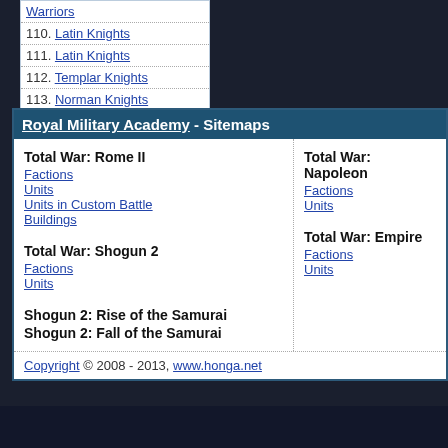Warriors
110. Latin Knights
111. Latin Knights
112. Templar Knights
113. Norman Knights
Royal Military Academy - Sitemaps
Total War: Rome II
Factions
Units
Units in Custom Battle
Buildings
Total War: Shogun 2
Factions
Units
Shogun 2: Rise of the Samurai
Shogun 2: Fall of the Samurai
Total War: Napoleon
Factions
Units
Total War: Empire
Factions
Units
Copyright © 2008 - 2013, www.honga.net